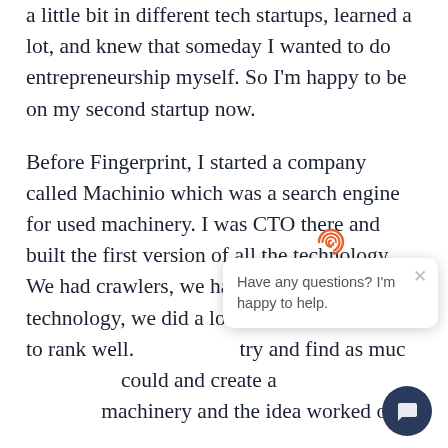a little bit in different tech startups, learned a lot, and knew that someday I wanted to do entrepreneurship myself. So I'm happy to be on my second startup now.

Before Fingerprint, I started a company called Machinio which was a search engine for used machinery. I was CTO there and built the first version of all the technology. We had crawlers, we had search engine technology, we did a lot of sear... order to rank well. ... try and find as muc... could and create a ... resource for used machinery and the idea worked out.

While at Machinio, I hired a person named Valentin as one of our first software
[Figure (screenshot): Chat widget popup with fingerprint logo icon (orange), close button (x), and text 'Have any questions? I'm happy to help.' with a dark circular chat button in the bottom right corner.]